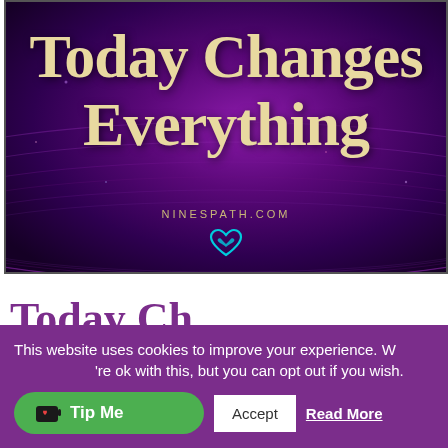[Figure (illustration): Purple swirling background image with large cream/beige text reading 'Today Changes Everything' and NINESPATH.COM with a teal heart logo below]
Today Ch...
This website uses cookies to improve your experience. We'll assume you're ok with this, but you can opt out if you wish.
Accept  Read More